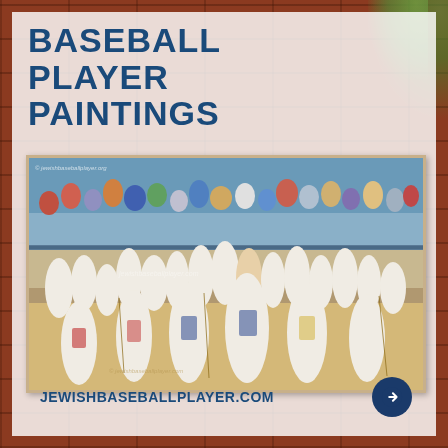BASEBALL PLAYER PAINTINGS
[Figure (illustration): A large painting depicting a group portrait of numerous Jewish baseball players in various team uniforms (including Dodgers, Red Sox, Mets, Pirates, Cubs, Blue Jays, and others) posed together in a stadium setting, with fans and spectators visible in the bleachers behind them. Watermark reads 'jewishbaseballplayer.org'.]
JEWISHBASEBALLPLAYER.COM